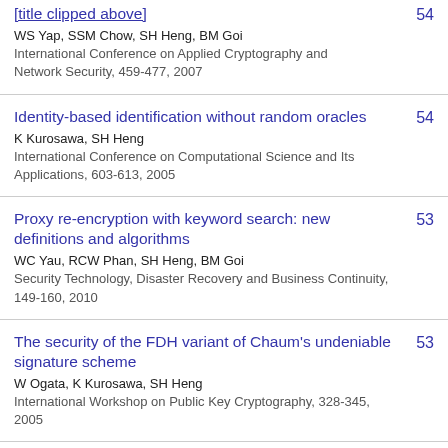[partial title clipped] WS Yap, SSM Chow, SH Heng, BM Goi — International Conference on Applied Cryptography and Network Security, 459-477, 2007 — 54
Identity-based identification without random oracles — K Kurosawa, SH Heng — International Conference on Computational Science and Its Applications, 603-613, 2005 — 54
Proxy re-encryption with keyword search: new definitions and algorithms — WC Yau, RCW Phan, SH Heng, BM Goi — Security Technology, Disaster Recovery and Business Continuity, 149-160, 2010 — 53
The security of the FDH variant of Chaum's undeniable signature scheme — W Ogata, K Kurosawa, SH Heng — International Workshop on Public Key Cryptography, 328-345, 2005 — 53
k-Resilient Identity-Based Encryption in the Standard Model — 51